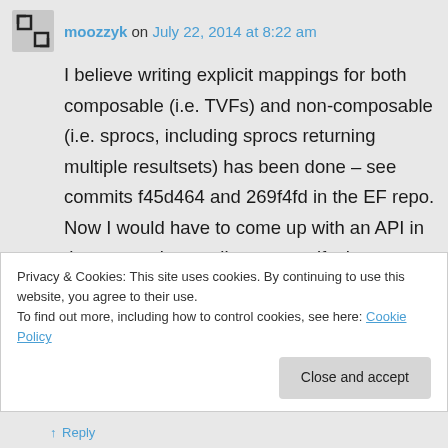moozzyk on July 22, 2014 at 8:22 am
I believe writing explicit mappings for both composable (i.e. TVFs) and non-composable (i.e. sprocs, including sprocs returning multiple resultsets) has been done – see commits f45d464 and 269f4fd in the EF repo. Now I would have to come up with an API in the convention to allow to specify the mapping.
Privacy & Cookies: This site uses cookies. By continuing to use this website, you agree to their use.
To find out more, including how to control cookies, see here: Cookie Policy
Close and accept
↑ Reply